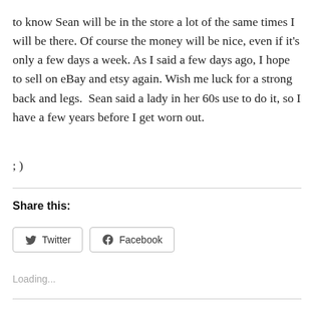to know Sean will be in the store a lot of the same times I will be there. Of course the money will be nice, even if it's only a few days a week. As I said a few days ago, I hope to sell on eBay and etsy again. Wish me luck for a strong back and legs.  Sean said a lady in her 60s use to do it, so I have a few years before I get worn out.
; )
Share this:
Twitter
Facebook
Loading...